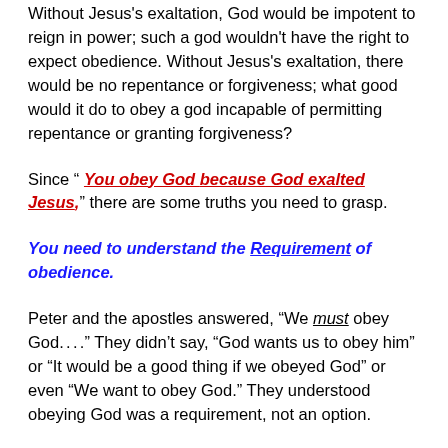Without Jesus's exaltation, God would be impotent to reign in power; such a god wouldn't have the right to expect obedience. Without Jesus's exaltation, there would be no repentance or forgiveness; what good would it do to obey a god incapable of permitting repentance or granting forgiveness?
Since " You obey God because God exalted Jesus," there are some truths you need to grasp.
You need to understand the Requirement of obedience.
Peter and the apostles answered, "We must obey God. . . ." They didn't say, "God wants us to obey him" or "It would be a good thing if we obeyed God" or even "We want to obey God." They understood obeying God was a requirement, not an option.
You need to understand obeying God is not an option;